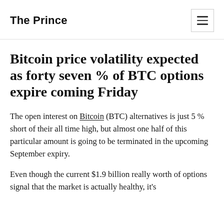The Prince
Bitcoin price volatility expected as forty seven % of BTC options expire coming Friday
The open interest on Bitcoin (BTC) alternatives is just 5 % short of their all time high, but almost one half of this particular amount is going to be terminated in the upcoming September expiry.
Even though the current $1.9 billion really worth of options signal that the market is actually healthy, it's